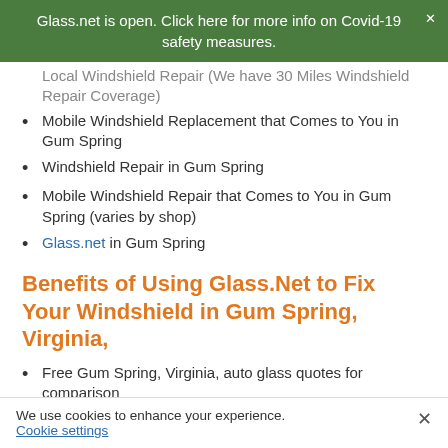Glass.net is open. Click here for more info on Covid-19 safety measures.
Local Windshield Repair (We have 30 Miles Windshield Repair Coverage)
Mobile Windshield Replacement that Comes to You in Gum Spring
Windshield Repair in Gum Spring
Mobile Windshield Repair that Comes to You in Gum Spring (varies by shop)
Glass.net in Gum Spring
Benefits of Using Glass.Net to Fix Your Windshield in Gum Spring, Virginia,
Free Gum Spring, Virginia, auto glass quotes for comparison
We use cookies to enhance your experience. Cookie settings